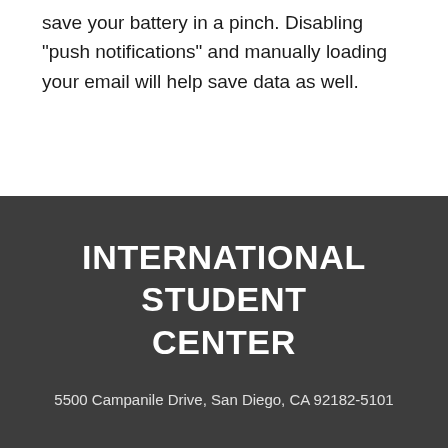save your battery in a pinch. Disabling "push notifications" and manually loading your email will help save data as well.
INTERNATIONAL STUDENT CENTER
5500 Campanile Drive, San Diego, CA 92182-5101